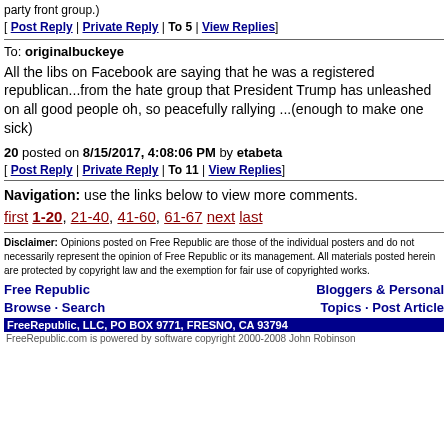party front group.)
[ Post Reply | Private Reply | To 5 | View Replies]
To: originalbuckeye
All the libs on Facebook are saying that he was a registered republican...from the hate group that President Trump has unleashed on all good people oh, so peacefully rallying ...(enough to make one sick)
20 posted on 8/15/2017, 4:08:06 PM by etabeta
[ Post Reply | Private Reply | To 11 | View Replies]
Navigation: use the links below to view more comments. first 1-20, 21-40, 41-60, 61-67 next last
Disclaimer: Opinions posted on Free Republic are those of the individual posters and do not necessarily represent the opinion of Free Republic or its management. All materials posted herein are protected by copyright law and the exemption for fair use of copyrighted works.
Free Republic Browse · Search Bloggers & Personal Topics · Post Article FreeRepublic, LLC, PO BOX 9771, FRESNO, CA 93794 FreeRepublic.com is powered by software copyright 2000-2008 John Robinson